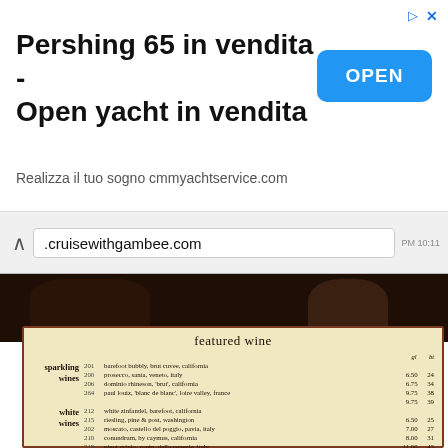[Figure (screenshot): Advertisement banner for 'Pershing 65 in vendita - Open yacht in vendita' from cmmyachtservice.com with an OPEN button]
Pershing 65 in vendita - Open yacht in vendita
Realizza il tuo sogno cmmyachtservice.com
[Figure (screenshot): Browser address bar showing .cruisewithgambee.com]
[Figure (photo): Photo of a restaurant wine menu card labeled 'featured wine' with sparkling and white wines listed with prices]
featured wine
sparkling wines
201 barefoot bubbly, brut cuvee, california
200 prosecco, santa, veneto, italy   6.50  24
206 dominio rhineson, 'brut', california   6.75  34
264 paul louiz, 'blanc de blanc', loire valley, france   9.75  38
9.75  39
white wines
212 white zinfandel, barefoot, california
215 riesling, pine & post, washington   6.50  25
202 moscato, castello del poggio, pavia, italy   7.00  27
210 conundrum, by caymus, california   8.00  31
219 pinot grigio, zonin, della venezie, italy   11.00  43
224 pinot grigio, ecco domani, della venezie, italy   6.25  24
221 sauvignon blanc, santa carolina, valle central, chile   9.00  35
226 sauvignon blanc, oyster bay, marlborough, new zealand   6.25  24
225 chardonnay, santa carolina, valle central, chile   7.50  29
222 chardonnay, barefoot, california   5.95  23
6.25  24